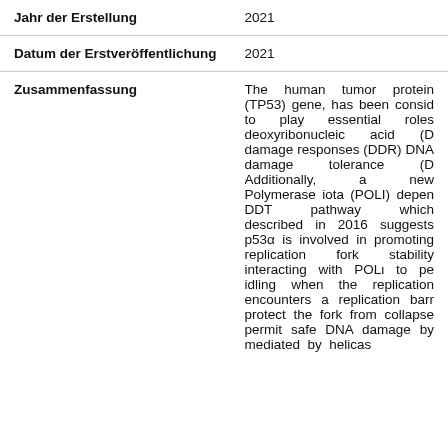| Jahr der Erstellung | 2021 |
| Datum der Erstveröffentlichung | 2021 |
| Zusammenfassung | The human tumor protein (TP53) gene, has been considered to play essential roles deoxyribonucleic acid (DNA) damage responses (DDR) DNA damage tolerance (DDT). Additionally, a new Polymerase iota (POLI) dependent DDT pathway which described in 2016 suggests p53α is involved in promoting replication fork stability interacting with POLι to perform idling when the replication fork encounters a replication barrier to protect the fork from collapse and permit safe DNA damage bypass mediated by helicase associated factors (HLTF)... |